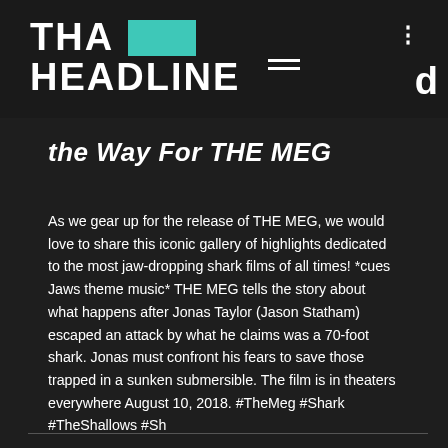THA HEADLINE
the Way For THE MEG
As we gear up for the release of THE MEG, we would love to share this iconic gallery of highlights dedicated to the most jaw-dropping shark films of all times! *cues Jaws theme music* THE MEG tells the story about what happens after Jonas Taylor (Jason Statham) escaped an attack by what he claims was a 70-foot shark. Jonas must confront his fears to save those trapped in a sunken submersible. The film is in theaters everywhere August 10, 2018. #TheMeg #Shark #TheShallows #Sh